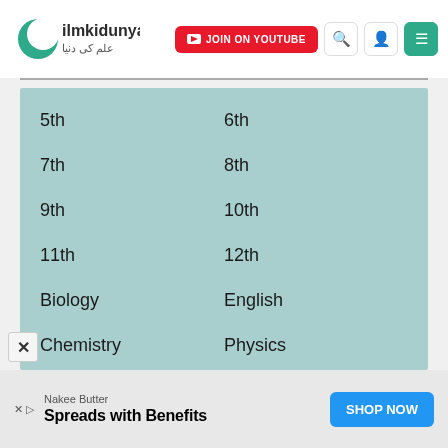[Figure (logo): ilmkidunya logo with crescent icon and Arabic text]
[Figure (screenshot): JOIN ON YOUTUBE red button, search icon, user icon, menu icon]
5th
6th
7th
8th
9th
10th
11th
12th
Biology
English
Chemistry
Physics
Urdu
Punjabi
Islamiat
Mathematics
Computer Science
Pakstudies
Nakee Butter — Spreads with Benefits — SHOP NOW